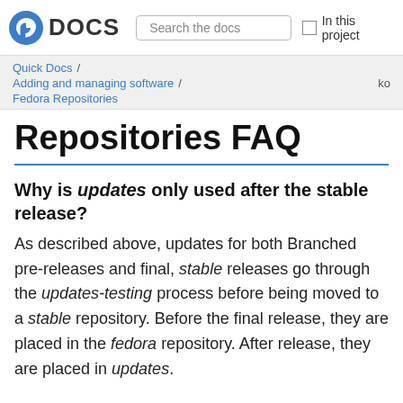DOCS | Search the docs | In this project
Quick Docs / Adding and managing software / Fedora Repositories   ko
Repositories FAQ
Why is updates only used after the stable release?
As described above, updates for both Branched pre-releases and final, stable releases go through the updates-testing process before being moved to a stable repository. Before the final release, they are placed in the fedora repository. After release, they are placed in updates.